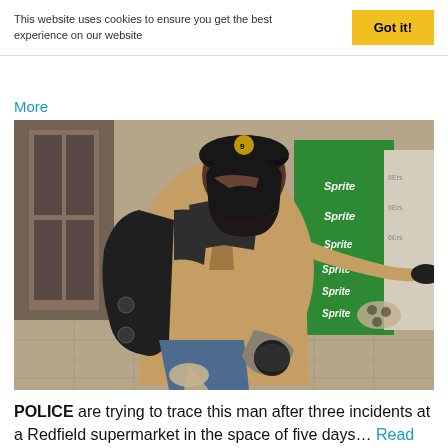This website uses cookies to ensure you get the best experience on our website
Got it!
More
[Figure (photo): CCTV surveillance image of a man in a store wearing a black baseball cap, black face covering, tan/beige jacket, carrying a large black backpack, reaching forward. Background shows stacked green Sprite can cases and tiled floor.]
POLICE are trying to trace this man after three incidents at a Redfield supermarket in the space of five days… Read More